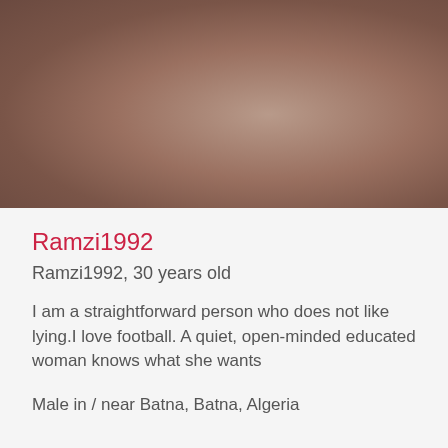[Figure (photo): Blurred brownish-pink gradient background photo area, profile image placeholder]
Ramzi1992
Ramzi1992, 30 years old
I am a straightforward person who does not like lying.I love football. A quiet, open-minded educated woman knows what she wants
Male in / near Batna, Batna, Algeria